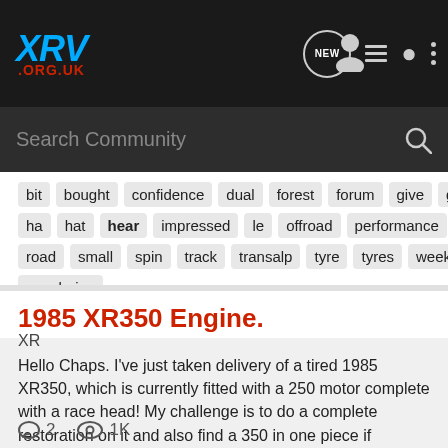XRV .ORG.UK
Search Community
bit bought confidence dual forest forum give good ha hat hear impressed le offroad performance rack road small spin track transalp tyre tyres week wondering
1985 XR350 Engine.
XR
Hello Chaps. I've just taken delivery of a tired 1985 XR350, which is currently fitted with a 250 motor complete with a race head! My challenge is to do a complete restoration on it and also find a 350 in one piece if possible, or I'll have to build one from scratch using new and second hand...
2  1K